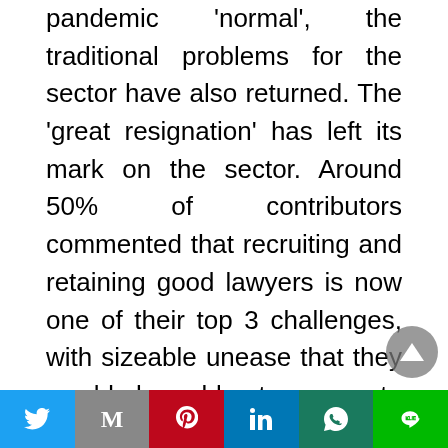pandemic 'normal', the traditional problems for the sector have also returned. The 'great resignation' has left its mark on the sector. Around 50% of contributors commented that recruiting and retaining good lawyers is now one of their top 3 challenges, with sizeable unease that they would be able to compete effectively for talent. This is clearly causing pain, as winning new business is seen as an equally big challenge.
To combat these threats, ambitious firms are investing in cloud-based tech to drive greater efficiencies and win more business. 36% had already increased their investment in technology
[Figure (other): Social media sharing bar with Twitter, Gmail, Pinterest, LinkedIn, WhatsApp, and LINE buttons]